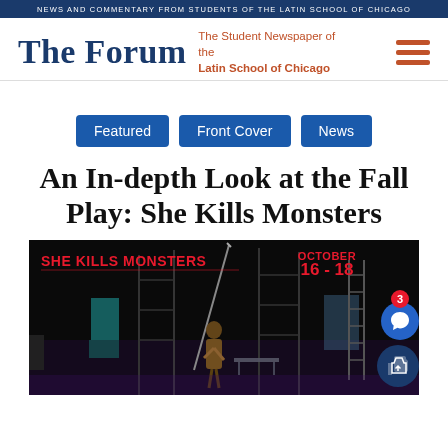NEWS AND COMMENTARY FROM STUDENTS OF THE LATIN SCHOOL OF CHICAGO
The Forum
The Student Newspaper of the Latin School of Chicago
Featured
Front Cover
News
An In-depth Look at the Fall Play: She Kills Monsters
[Figure (photo): Theatrical production photo from 'She Kills Monsters' showing a performer on stage with scaffold set pieces, red title text overlay reading 'SHE KILLS MONSTERS' and date badge 'OCTOBER 16-18' in top right corner.]